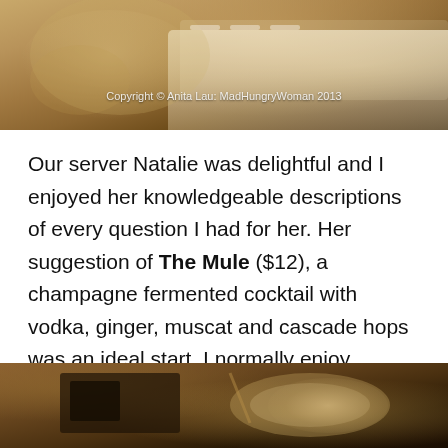[Figure (photo): Restaurant interior with dining chairs and white tablecloth-covered tables, warm amber tones. Copyright watermark visible.]
Our server Natalie was delightful and I enjoyed her knowledgeable descriptions of every question I had for her. Her suggestion of The Mule ($12), a champagne fermented cocktail with vodka, ginger, muscat and cascade hops was an ideal start. I normally enjoy Moscow Mules because I love ginger, but for those who may find it overpowering, this rendition only has hints of ginger. It is light, effervescent, and an all too easy to drink cocktail.
[Figure (photo): Close-up of a cocktail or soup bowl on a dark wooden surface, warm dark tones.]